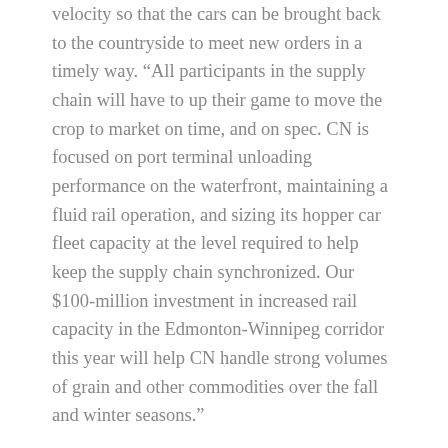velocity so that the cars can be brought back to the countryside to meet new orders in a timely way. “All participants in the supply chain will have to up their game to move the crop to market on time, and on spec. CN is focused on port terminal unloading performance on the waterfront, maintaining a fluid rail operation, and sizing its hopper car fleet capacity at the level required to help keep the supply chain synchronized. Our $100-million investment in increased rail capacity in the Edmonton-Winnipeg corridor this year will help CN handle strong volumes of grain and other commodities over the fall and winter seasons.”
Mongeau said the strong collaboration CN experienced with its supply chain partners in the fall of 2012 in moving significant volumes of grain to market bodes well for this fall. And he thanked partners who had invested in or secured